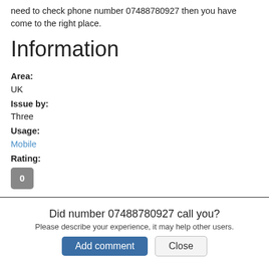need to check phone number 07488780927 then you have come to the right place.
Information
Area:
UK
Issue by:
Three
Usage:
Mobile
Rating:
0
Did number 07488780927 call you?
Please describe your experience, it may help other users.
Add comment   Close